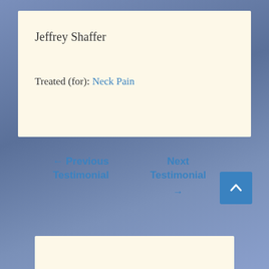Jeffrey Shaffer
Treated (for): Neck Pain
← Previous Testimonial
Next Testimonial →